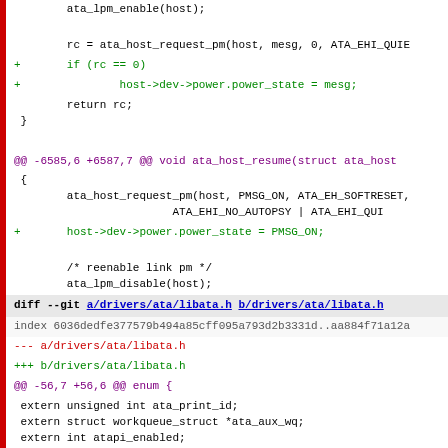Code diff showing changes to ata host power management and libata.h driver files
[Figure (screenshot): Git diff output showing code changes in C source files for ATA driver power management]